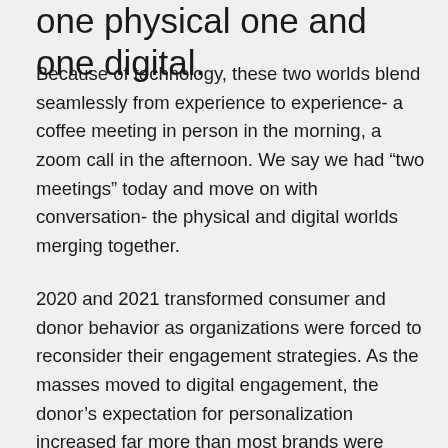one physical one and one digital.
Because of technology, these two worlds blend seamlessly from experience to experience- a coffee meeting in person in the morning, a zoom call in the afternoon. We say we had “two meetings” today and move on with conversation- the physical and digital worlds merging together.
2020 and 2021 transformed consumer and donor behavior as organizations were forced to reconsider their engagement strategies. As the masses moved to digital engagement, the donor’s expectation for personalization increased far more than most brands were ready for. Overnight,